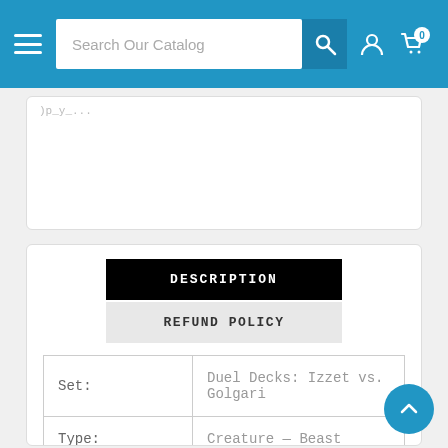Search Our Catalog
DESCRIPTION
REFUND POLICY
|  |  |
| --- | --- |
| Set: | Duel Decks: Izzet vs. Golgari |
| Type: | Creature — Beast |
| Rarity: | Rare |
| Cost: | {3}{R}{R} |